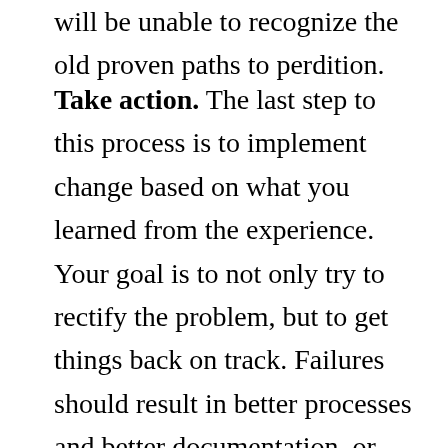will be unable to recognize the old proven paths to perdition.
Take action. The last step to this process is to implement change based on what you learned from the experience. Your goal is to not only try to rectify the problem, but to get things back on track. Failures should result in better processes and better documentation, or they will become mistakes repeated. Moreover, the process of change needs to be implemented quickly before negative and hard to change